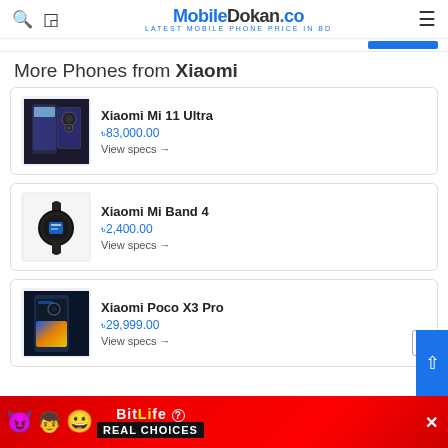MobileDokan.co - Latest Mobile Phone Price in BD
More Phones from Xiaomi
Xiaomi Mi 11 Ultra
৳83,000.00
View specs →
Xiaomi Mi Band 4
৳2,400.00
View specs →
Xiaomi Poco X3 Pro
৳29,999.00
View specs →
[Figure (screenshot): BitLife advertisement banner with colorful emojis and 'REAL CHOICES' text]